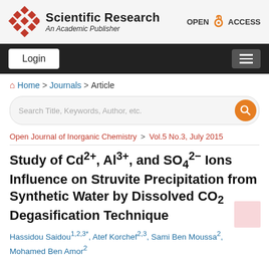Scientific Research — An Academic Publisher | OPEN ACCESS
Login
Home > Journals > Article
Search Title, Keywords, Author, etc.
Open Journal of Inorganic Chemistry > Vol.5 No.3, July 2015
Study of Cd2+, Al3+, and SO4 2− Ions Influence on Struvite Precipitation from Synthetic Water by Dissolved CO2 Degasification Technique
Hassidou Saidou1,2,3*, Atef Korchef2,3, Sami Ben Moussa2, Mohamed Ben Amor2